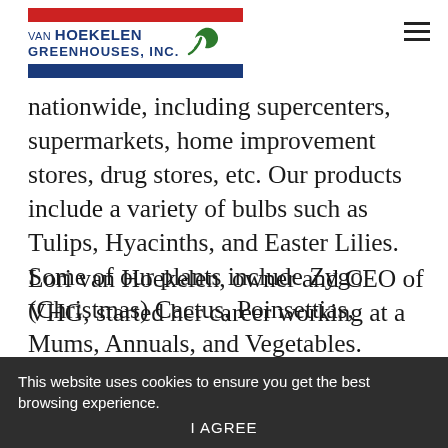[Figure (logo): Van Hoekelen Greenhouses, Inc. logo with red bar on top, company name in dark blue with green leaf icon, and blue bar on bottom]
nationwide, including supercenters, supermarkets, home improvement stores, drug stores, etc. Our products include a variety of bulbs such as Tulips, Hyacinths, and Easter Lilies. Some of our plants include Zygo (Christmas) Cactus, Poinsettias, Mums, Annuals, and Vegetables.
This website uses cookies to ensure you get the best browsing experience.
I AGREE
Lori van Hoekelen, owner and CEO of VHG, started her career working at a